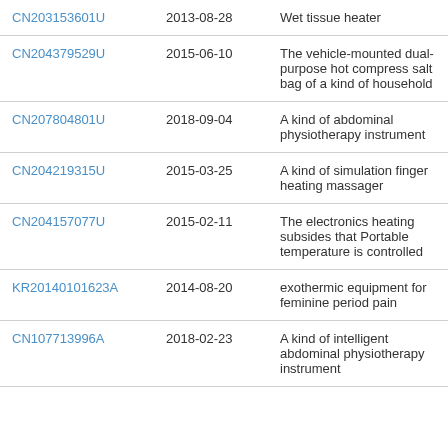| Patent ID | Date | Description |
| --- | --- | --- |
| CN203153601U | 2013-08-28 | Wet tissue heater |
| CN204379529U | 2015-06-10 | The vehicle-mounted dual-purpose hot compress salt bag of a kind of household |
| CN207804801U | 2018-09-04 | A kind of abdominal physiotherapy instrument |
| CN204219315U | 2015-03-25 | A kind of simulation finger heating massager |
| CN204157077U | 2015-02-11 | The electronics heating subsides that Portable temperature is controlled |
| KR20140101623A | 2014-08-20 | exothermic equipment for feminine period pain |
| CN107713996A | 2018-02-23 | A kind of intelligent abdominal physiotherapy instrument |